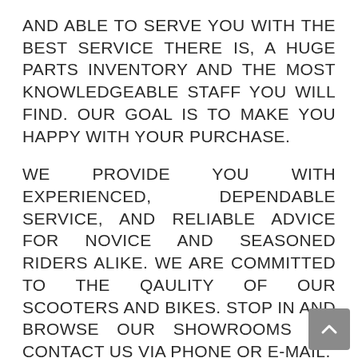AND ABLE TO SERVE YOU WITH THE BEST SERVICE THERE IS, A HUGE PARTS INVENTORY AND THE MOST KNOWLEDGEABLE STAFF YOU WILL FIND. OUR GOAL IS TO MAKE YOU HAPPY WITH YOUR PURCHASE.
WE PROVIDE YOU WITH EXPERIENCED, DEPENDABLE SERVICE, AND RELIABLE ADVICE FOR NOVICE AND SEASONED RIDERS ALIKE. WE ARE COMMITTED TO THE QAULITY OF OUR SCOOTERS AND BIKES. STOP IN AND BROWSE OUR SHOWROOMS OR CONTACT US VIA PHONE OR E-MAIL.
WE LOOK FORWARD TO DOING BUSINESS WITH YOU..!